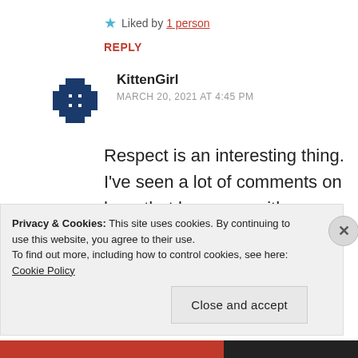★ Liked by 1 person
REPLY
[Figure (logo): Blue pixel/cross avatar icon for user KittenGirl]
KittenGirl
MARCH 20, 2021 AT 4:45 PM
Respect is an interesting thing. I've seen a lot of comments on here that leave me with very little respect for the people who wrote them as
Privacy & Cookies: This site uses cookies. By continuing to use this website, you agree to their use.
To find out more, including how to control cookies, see here: Cookie Policy
Close and accept